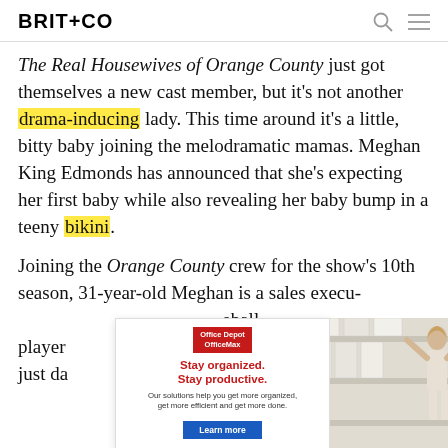BRIT+CO
The Real Housewives of Orange County just got themselves a new cast member, but it's not another drama-inducing lady. This time around it's a little, bitty baby joining the melodramatic mamas. Meghan King Edmonds has announced that she's expecting her first baby while also revealing her baby bump in a teeny bikini.
Joining the Orange County crew for the show's 10th season, 31-year-old Meghan is a sales execu[tive and wife of former baseball player[...]ment just da[...] rogram
[Figure (photo): Office Depot OfficeMax advertisement overlay with red logo, Stay organized. Stay productive. tagline, body text, and Learn more blue button. Right side shows photo of woman organizing shelves with white storage boxes.]